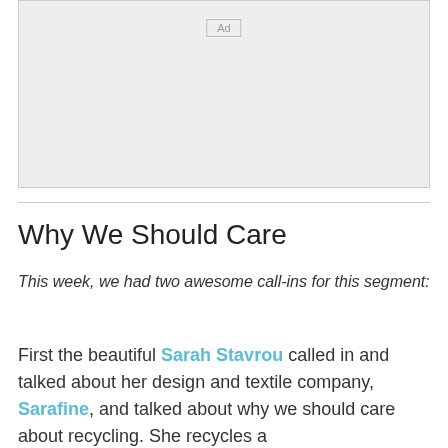[Figure (other): Advertisement placeholder box with 'Ad' label]
Why We Should Care
This week, we had two awesome call-ins for this segment:
First the beautiful Sarah Stavrou called in and talked about her design and textile company, Sarafine, and talked about why we should care about recycling. She recycles a